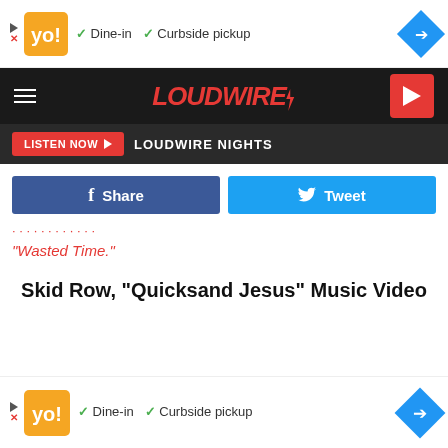[Figure (screenshot): Advertisement banner with orange logo, Dine-in and Curbside pickup checkmarks, and blue navigation arrow]
LOUDWIRE — Navigation bar with hamburger menu and play button
LISTEN NOW ▶  LOUDWIRE NIGHTS
Share | Tweet
"Wasted Time."
Skid Row, "Quicksand Jesus" Music Video
[Figure (screenshot): Bottom advertisement banner with orange logo, Dine-in and Curbside pickup checkmarks, and blue navigation arrow]